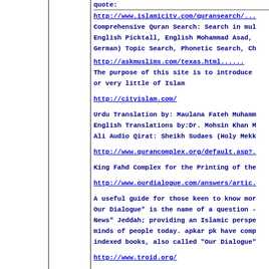quote:
http://www.islamicity.com/quransearch/...
Comprehensive Quran Search: Search in mul English Picktall, English Mohammad Asad, German) Topic Search, Phonetic Search, Ch
http://askmuslims.com/texas.html......
The purpose of this site is to introduce or very little of Islam
http://cityislam.com/
Urdu Translation by: Maulana Fateh Muhamm English Translations by:Dr. Mohsin Khan M Ali Audio Qirat: Sheikh Sudaes (Holy Mekk
http://www.qurancomplex.org/default.asp?.
King Fahd Complex for the Printing of the
http://www.ourdialogue.com/answers/artic.
A useful guide for those keen to know mor Our Dialogue" is the name of a question - News" Jeddah; providing an Islamic perspe minds of people today. apkar pk have comp indexed books, also called "Our Dialogue"
http://www.troid.org/
www.thenoblequran.com
http://en.quran.nu/
www.sahihalbukhari.com